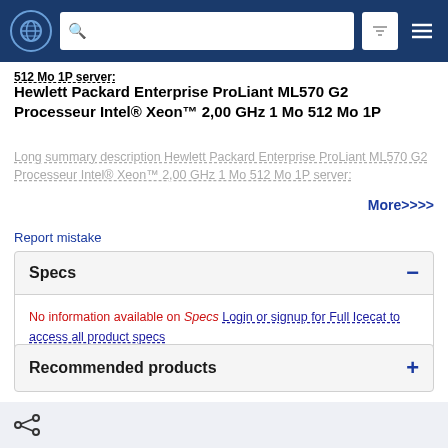Navigation bar with globe icon, search bar, filter, and menu
512 Mo 1P server.
Hewlett Packard Enterprise ProLiant ML570 G2 Processeur Intel® Xeon™ 2,00 GHz 1 Mo 512 Mo 1P
Long summary description Hewlett Packard Enterprise ProLiant ML570 G2 Processeur Intel® Xeon™ 2,00 GHz 1 Mo 512 Mo 1P server:
More>>>>
Report mistake
Specs
No information available on Specs Login or signup for Full Icecat to access all product specs
Recommended products
Share icon